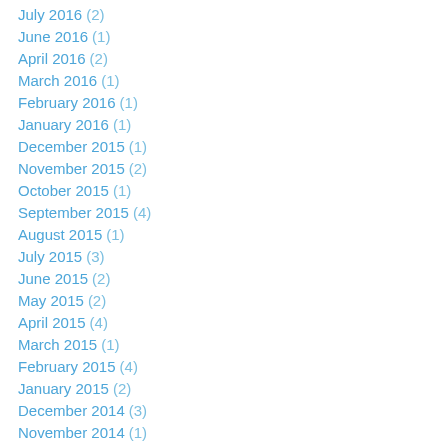July 2016 (2)
June 2016 (1)
April 2016 (2)
March 2016 (1)
February 2016 (1)
January 2016 (1)
December 2015 (1)
November 2015 (2)
October 2015 (1)
September 2015 (4)
August 2015 (1)
July 2015 (3)
June 2015 (2)
May 2015 (2)
April 2015 (4)
March 2015 (1)
February 2015 (4)
January 2015 (2)
December 2014 (3)
November 2014 (1)